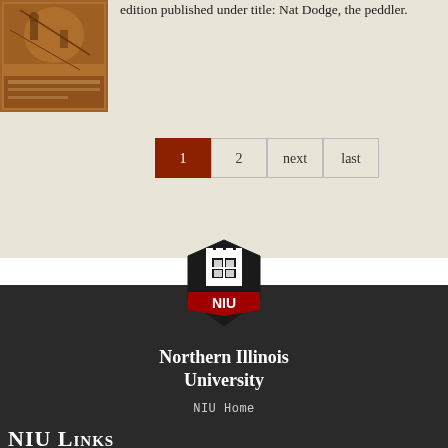[Figure (illustration): Vintage book cover with sepia-toned illustration of a figure]
edition published under title: Nat Dodge, the peddler.
1  2  next  last
[Figure (logo): NIU (Northern Illinois University) shield logo with castle tower and red banner]
Northern Illinois University
NIU Home
NIU Links